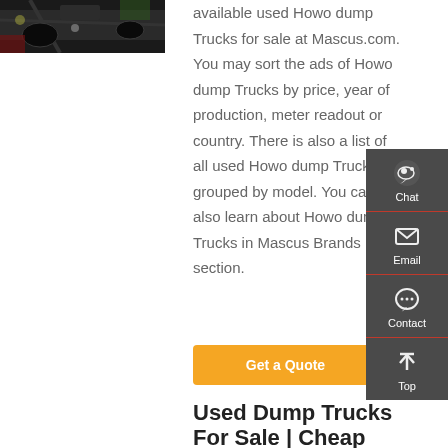available used Howo dump Trucks for sale at Mascus.com. You may sort the ads of Howo dump Trucks by price, year of production, meter readout or country. There is also a list of all used Howo dump Trucks grouped by model. You can also learn about Howo dump Trucks in Mascus Brands section.
[Figure (other): Orange 'Get a Quote' button]
[Figure (infographic): Dark sidebar with Chat, Email, Contact, and Top navigation icons]
[Figure (photo): Photo of underside of a dump truck in a garage setting]
Used Dump Trucks For Sale | Cheap